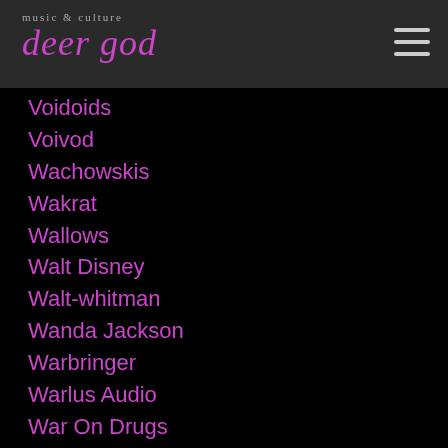deer god
Voidoids
Voivod
Wachowskis
Wakrat
Wallows
Walt Disney
Walt-whitman
Wanda Jackson
Warbringer
Warlus Audio
War On Drugs
Warpaint
Warpedtour
Warped-tour
Warp Records
Warren-g
Warren Huart